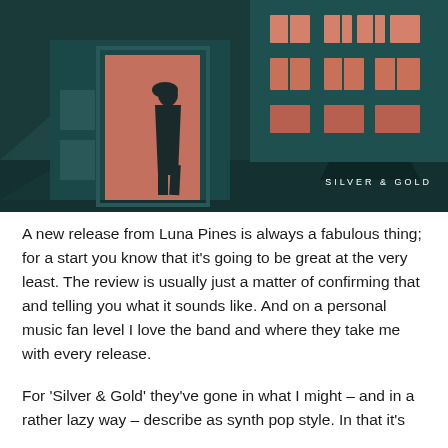[Figure (illustration): Album artwork for 'Silver & Gold' by Luna Pines. Dark teal/navy background with an illustrated building facade at night. A silhouette of a person stands in a glowing pink/salmon doorway on the left. The building has multiple lit windows with warm salmon/pink light. Pine trees are visible on the right. The text 'SILVER & GOLD' appears in the lower right corner in white spaced lettering.]
A new release from Luna Pines is always a fabulous thing; for a start you know that it's going to be great at the very least. The review is usually just a matter of confirming that and telling you what it sounds like. And on a personal music fan level I love the band and where they take me with every release.
For 'Silver & Gold' they've gone in what I might – and in a rather lazy way – describe as synth pop style. In that it's